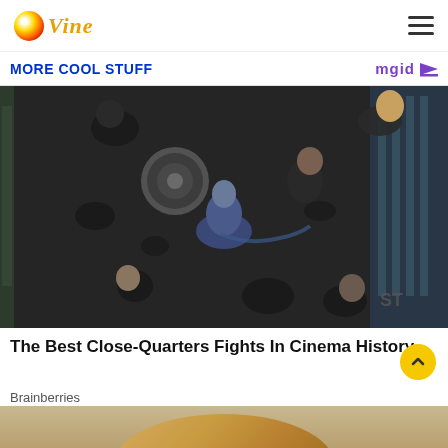Vine logo and navigation menu
MORE COOL STUFF
[Figure (photo): Aerial/top-down view of a fight scene from a movie featuring Captain America, with multiple figures in black tactical gear and one figure in a blue outfit holding a shield-like disc, set against a glass building background]
The Best Close-Quarters Fights In Cinema History
Brainberries
[Figure (photo): Partial view of a person with blonde hair at the bottom of the page, cropped]